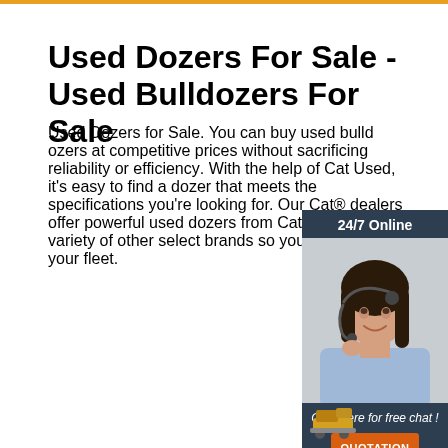Used Dozers For Sale - Used Bulldozers For Sale
Used Dozers for Sale. You can buy used bulldozers at competitive prices without sacrificing reliability or efficiency. With the help of Cat Used, it's easy to find a dozer that meets the specifications you're looking for. Our Cat® dealers offer powerful used dozers from Caterpillar and a variety of other select brands so you can expand your fleet.
[Figure (photo): Customer service representative woman wearing headset, smiling, with 24/7 Online label and Click here for free chat / QUOTATION button on dark blue background sidebar widget]
Get Price
[Figure (illustration): Small bulldozer icon at bottom right of page]